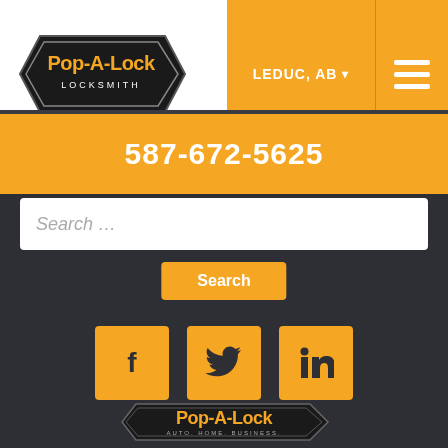[Figure (logo): Pop-A-Lock Locksmith logo in header, black and orange badge with key shape]
LEDUC, AB ▾
[Figure (illustration): Hamburger menu icon (three orange horizontal lines)]
587-672-5625
Search …
Search
[Figure (illustration): Social media icons: Facebook, Twitter, LinkedIn — orange square buttons]
[Figure (logo): Pop-A-Lock footer logo — AUTO. HOME. BUSINESS.]